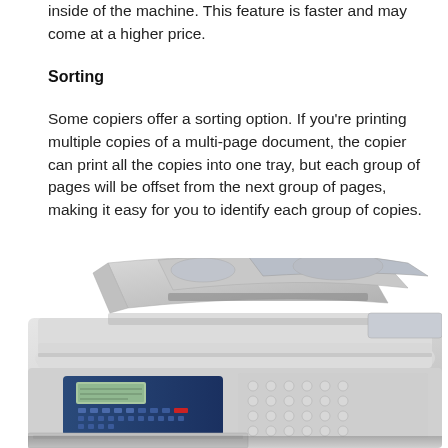inside of the machine. This feature is faster and may come at a higher price.
Sorting
Some copiers offer a sorting option. If you're printing multiple copies of a multi-page document, the copier can print all the copies into one tray, but each group of pages will be offset from the next group of pages, making it easy for you to identify each group of copies.
[Figure (photo): A Xerox office photocopier/multifunction printer viewed from above at an angle, showing the automatic document feeder (ADF) open and the control panel with keypad and display screen.]